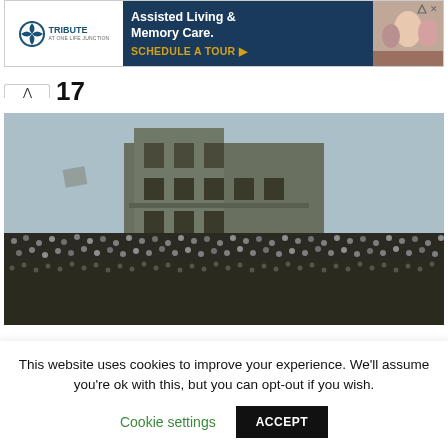[Figure (screenshot): Advertisement banner for Tribute At One Life Junction assisted living and memory care facility, showing logo, headline text, schedule a tour call-to-action, and a photo of elderly people.]
17
[Figure (photo): Black and white historical photograph showing a large crowd of people gathered in front of a multi-story stone building. The crowd is extremely dense filling the lower portion of the image.]
This website uses cookies to improve your experience. We'll assume you're ok with this, but you can opt-out if you wish.
Cookie settings
ACCEPT